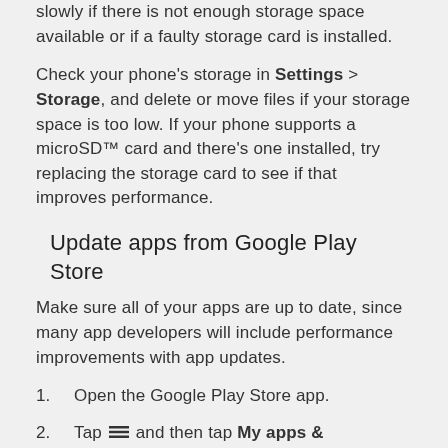slowly if there is not enough storage space available or if a faulty storage card is installed.
Check your phone's storage in Settings > Storage, and delete or move files if your storage space is too low. If your phone supports a microSD™ card and there's one installed, try replacing the storage card to see if that improves performance.
Update apps from Google Play Store
Make sure all of your apps are up to date, since many app developers will include performance improvements with app updates.
1. Open the Google Play Store app.
2. Tap ≡ and then tap My apps &